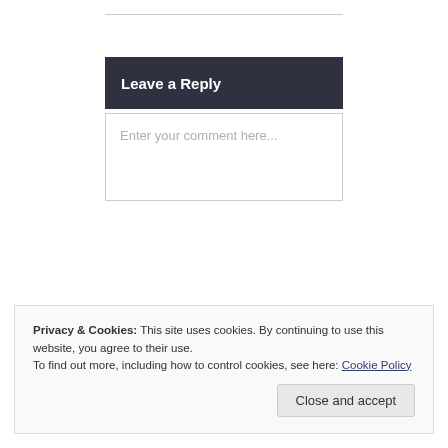Leave a Reply
Enter your comment here...
Privacy & Cookies: This site uses cookies. By continuing to use this website, you agree to their use.
To find out more, including how to control cookies, see here: Cookie Policy
Close and accept